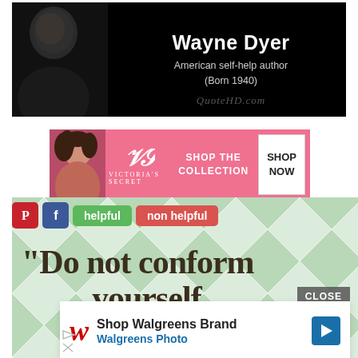[Figure (photo): Wayne Dyer quote card: dark background with photo of a man on the left side, text on right reading 'Wayne Dyer, American self-help author (Born 1940)', watermark QuoteHD.com]
[Figure (photo): Victoria's Secret advertisement banner: pink background with woman's photo, VS logo, 'SHOP THE COLLECTION' text, and 'SHOP NOW' button]
[Figure (screenshot): Social sharing buttons row: Pinterest (red P icon), Facebook (blue f icon), green 'helpful' button, red 'non helpful' button]
[Figure (photo): Green diamond/argyle patterned background showing partial text 'Do not conform yourself', with a CLOSE button overlay and Walgreens Brand advertisement popup at bottom]